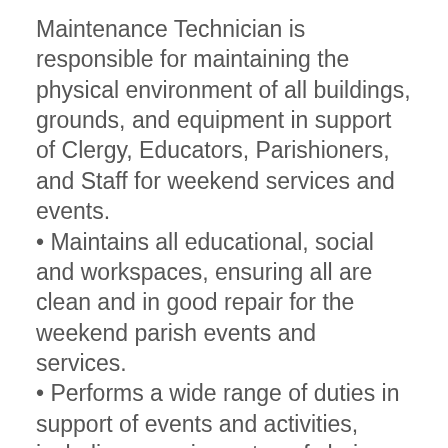Maintenance Technician is responsible for maintaining the physical environment of all buildings, grounds, and equipment in support of Clergy, Educators, Parishioners, and Staff for weekend services and events.
• Maintains all educational, social and workspaces, ensuring all are clean and in good repair for the weekend parish events and services.
• Performs a wide range of duties in support of events and activities, including ensuring setup of chairs, tables, stages, decorations, or equipment as specified by St. Patrick staff.
The Facilities and Maintenance Technician reports directly to the Facilities Manager. The Technician must work as an integral member of the St. Patrick staff by coordinating and sharing information and resources with both administrative and maintenance staff as needed